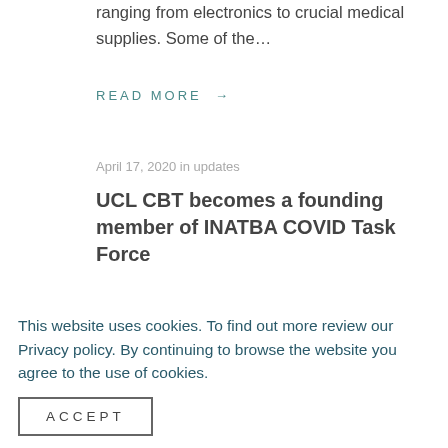ranging from electronics to crucial medical supplies. Some of the…
READ MORE →
April 17, 2020 in updates
UCL CBT becomes a founding member of INATBA COVID Task Force
The International Association for Trusted Blockchain Applications
This website uses cookies. To find out more review our Privacy policy. By continuing to browse the website you agree to the use of cookies.
ACCEPT